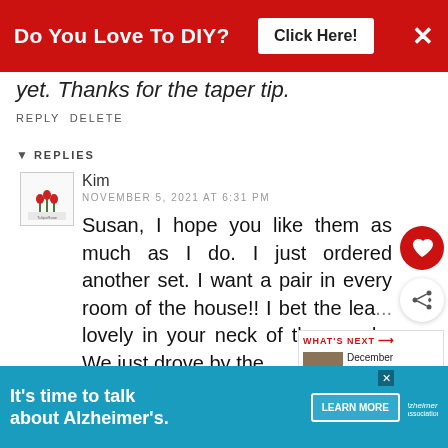Do You Love To DIY? [Click Here!]
yet. Thanks for the taper tip.
REPLY DELETE
REPLIES
Kim
NOVEMBER 5, 2021 AT 6:31 PM
Susan, I hope you like them as much as I do. I just ordered another set. I want a pair in every room of the house!! I bet the lea... lovely in your neck of the woods. We just drove by the
[Figure (other): Alzheimer's association advertisement banner at bottom of page]
It's time to talk about Alzheimer's. LEARN MORE